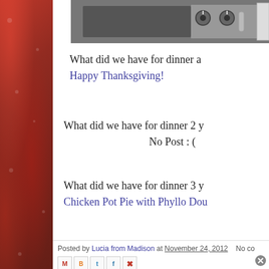[Figure (photo): Partial photo of a kitchen stove/cooktop with black knobs, cropped at top of page]
What did we have for dinner a
Happy Thanksgiving!
What did we have for dinner 2 y
No Post  : (
What did we have for dinner 3 y
Chicken Pot Pie with Phyllo Dou
Posted by Lucia from Madison at November 24, 2012   No co